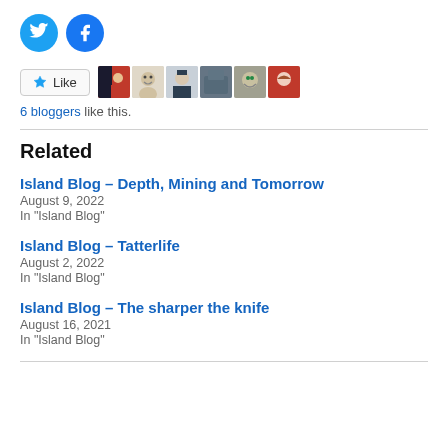[Figure (infographic): Twitter and Facebook social sharing icons (blue circles with bird and f logos)]
[Figure (infographic): Like button with star icon and 6 blogger avatar thumbnails]
6 bloggers like this.
Related
Island Blog – Depth, Mining and Tomorrow
August 9, 2022
In "Island Blog"
Island Blog – Tatterlife
August 2, 2022
In "Island Blog"
Island Blog – The sharper the knife
August 16, 2021
In "Island Blog"